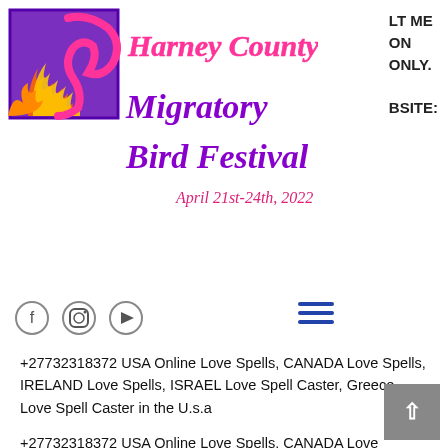[Figure (logo): Harney County Migratory Bird Festival logo with colorful bird/flame imagery and script text reading 'Harney County Migratory Bird Festival, April 21st-24th, 2022']
LT ME
ON
ONLY.

BSITE:
+27732318372 USA Online Love Spells, CANADA Love Spells, IRELAND Love Spells, ISRAEL Love Spell Caster, Greece Love Spell Caster in the U.s.a
+27732318372 USA Online Love Spells, CANADA Love Spells, IRELAND Love Spells, ISRAEL Love Spell Caster, Greece Love Spell Caster in SWITZERLAND, AUSTRIA Love Spell Caster, AUSTRALIA Love Spell Caster, Namibia Spiritual Love Spell Caster, South Africa Spiritual Love Spell
Caster, Love Spells in the USA, Online Love...